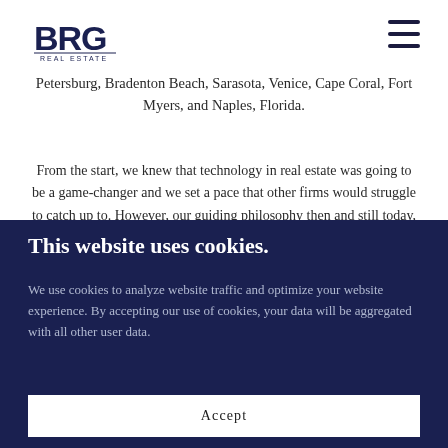[Figure (logo): BRG Real Estate logo with bold BRG text and 'REAL ESTATE' subtitle]
Petersburg, Bradenton Beach, Sarasota, Venice, Cape Coral, Fort Myers, and Naples, Florida.
From the start, we knew that technology in real estate was going to be a game-changer and we set a pace that other firms would struggle to catch up to. However, our guiding philosophy then and still today, is that the most important
This website uses cookies.
We use cookies to analyze website traffic and optimize your website experience. By accepting our use of cookies, your data will be aggregated with all other user data.
Accept